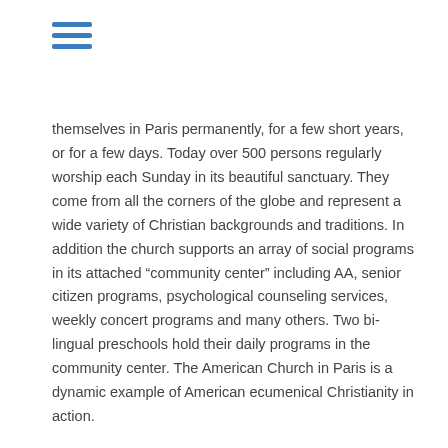[Figure (other): Hamburger menu icon (three horizontal blue lines)]
themselves in Paris permanently, for a few short years, or for a few days. Today over 500 persons regularly worship each Sunday in its beautiful sanctuary. They come from all the corners of the globe and represent a wide variety of Christian backgrounds and traditions. In addition the church supports an array of social programs in its attached “community center” including AA, senior citizen programs, psychological counseling services, weekly concert programs and many others. Two bi-lingual preschools hold their daily programs in the community center. The American Church in Paris is a dynamic example of American ecumenical Christianity in action.
The American Church in Berlin traces it roots to about 1865 when an American Chapel was founded. Changing its name to the American Church in Berlin in 1886, it made first contact with the AFCU in 1889. In 1914 that the AFCU